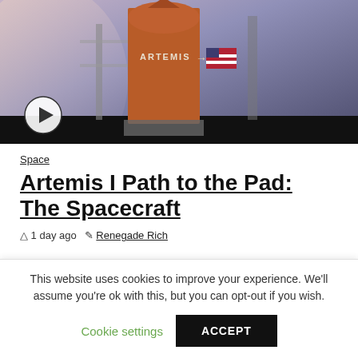[Figure (photo): Photo of Artemis I spacecraft on launch pad with orange rocket booster, 'ARTEMIS' text visible, American flag on side, dusk/twilight sky background. Video play button overlay in bottom-left.]
Space
Artemis I Path to the Pad: The Spacecraft
1 day ago   Renegade Rich
Space
The Move to the Launchpad
This website uses cookies to improve your experience. We'll assume you're ok with this, but you can opt-out if you wish.
Cookie settings   ACCEPT